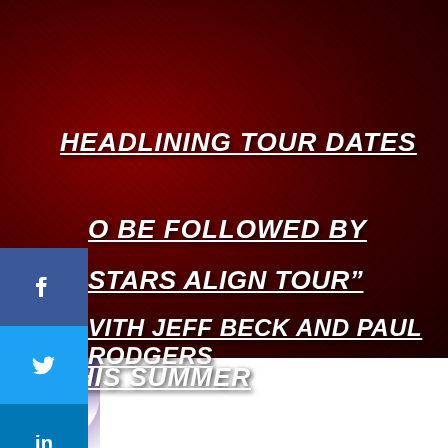[Figure (photo): Dark red textured background resembling fur or fiber with deep crimson tones]
HEADLINING TOUR DATES
TO BE FOLLOWED BY
STARS ALIGN TOUR”
WITH JEFF BECK AND PAUL RODGERS
THIS SUMMER
[Figure (photo): Partial photo of a performer with long hair, purple/white tones, at bottom of page]